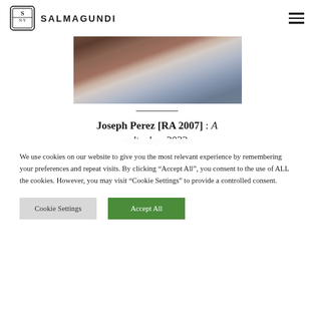SALMAGUNDI
[Figure (photo): Close-up painting of a rocky, textured surface with earthy brown, rust, and grey-blue tones suggesting stones or minerals near water.]
Joseph Perez [RA 2007] : A salty day, 2022. $850
We use cookies on our website to give you the most relevant experience by remembering your preferences and repeat visits. By clicking “Accept All”, you consent to the use of ALL the cookies. However, you may visit "Cookie Settings" to provide a controlled consent.